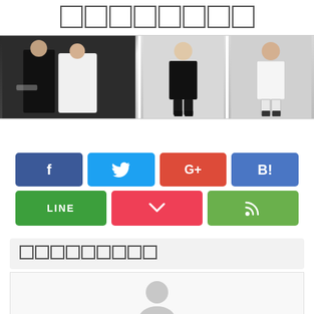□□□□□□□□
[Figure (photo): Three images in a row: left shows a couple at a wedding (man in black tuxedo, woman in white dress), center shows a man in a black suit on white background, right shows a man in a white suit on white background.]
[Figure (infographic): Social share buttons row 1: Facebook (blue), Twitter (blue), Google+ (red), Hatena Bookmark (blue). Row 2: LINE (green), Pocket (red-pink), RSS (green).]
□□□□□□□□□
[Figure (photo): Author avatar placeholder — grey silhouette person icon on white background.]